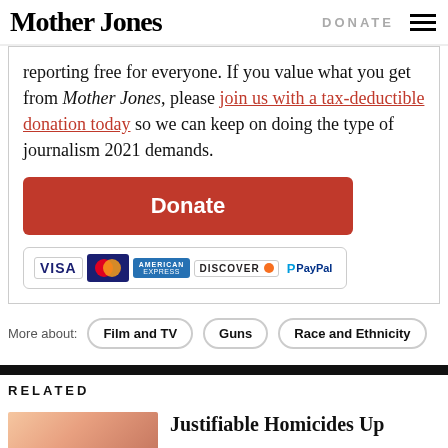Mother Jones | DONATE
reporting free for everyone. If you value what you get from Mother Jones, please join us with a tax-deductible donation today so we can keep on doing the type of journalism 2021 demands.
[Figure (other): Orange Donate button followed by payment icons: VISA, MasterCard, American Express, Discover, PayPal]
More about: Film and TV | Guns | Race and Ethnicity
RELATED
Justifiable Homicides Up